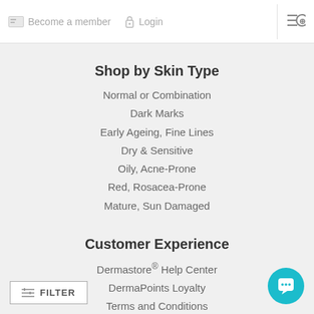Become a member  Login
Shop by Skin Type
Normal or Combination
Dark Marks
Early Ageing, Fine Lines
Dry & Sensitive
Oily, Acne-Prone
Red, Rosacea-Prone
Mature, Sun Damaged
Customer Experience
Dermastore® Help Center
DermaPoints Loyalty
Terms and Conditions
Clinical Studies